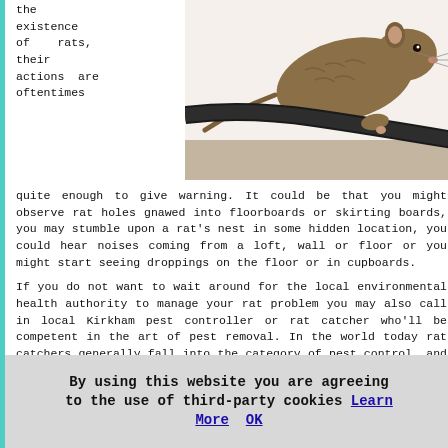the existence of rats, their actions are oftentimes quite enough to give warning. It could be that you might observe rat holes gnawed into floorboards or skirting boards, you may stumble upon a rat's nest in some hidden location, you could hear noises coming from a loft, wall or floor or you might start seeing droppings on the floor or in cupboards.
[Figure (photo): Close-up photo of a brown rat gnawing on a black cable/wire against a white fluffy background]
If you do not want to wait around for the local environmental health authority to manage your rat problem you may also call in local Kirkham pest controller or rat catcher who'll be competent in the art of pest removal. In the world today rat catchers generally fall into the category of pest control, and pest control services not only control rats but in addition cockroaches, mice, wasps, bedbugs, moles, fleas and a variety of other household and garden pests. (Tags: Rat Catchers Kirkham, Pest Control Kirkham )
By using this website you are agreeing to the use of third-party cookies Learn More OK